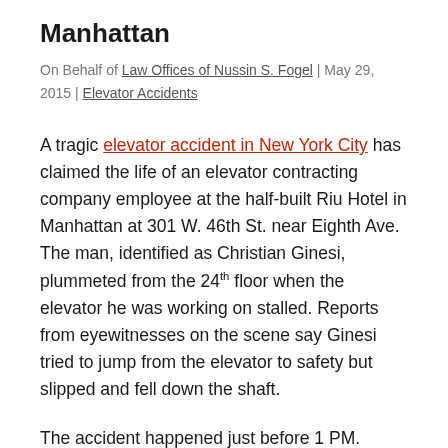Manhattan
On Behalf of Law Offices of Nussin S. Fogel | May 29, 2015 | Elevator Accidents
A tragic elevator accident in New York City has claimed the life of an elevator contracting company employee at the half-built Riu Hotel in Manhattan at 301 W. 46th St. near Eighth Ave. The man, identified as Christian Ginesi, plummeted from the 24th floor when the elevator he was working on stalled. Reports from eyewitnesses on the scene say Ginesi tried to jump from the elevator to safety but slipped and fell down the shaft.
The accident happened just before 1 PM. Ginesi was